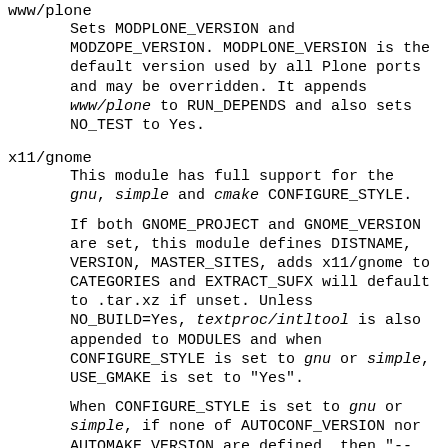www/plone
    Sets MODPLONE_VERSION and MODZOPE_VERSION. MODPLONE_VERSION is the default version used by all Plone ports and may be overridden. It appends www/plone to RUN_DEPENDS and also sets NO_TEST to Yes.
x11/gnome
    This module has full support for the gnu, simple and cmake CONFIGURE_STYLE.

    If both GNOME_PROJECT and GNOME_VERSION are set, this module defines DISTNAME, VERSION, MASTER_SITES, adds x11/gnome to CATEGORIES and EXTRACT_SUFX will default to .tar.xz if unset. Unless NO_BUILD=Yes, textproc/intltool is also appended to MODULES and when CONFIGURE_STYLE is set to gnu or simple, USE_GMAKE is set to "Yes".

    When CONFIGURE_STYLE is set to gnu or simple, if none of AUTOCONF_VERSION nor AUTOMAKE_VERSION are defined, then "--disable-maintainer-mode" is appended to CONFIGURE_ARGS. When CONFIGURE_STYLE is set to cmake, "-DENABLE_MAINTAINER_MODE=OFF" and -DSYSCONF_INSTALL_DIR=${SYSCONFDIR} are appended to CONFIGURE_ARGS.